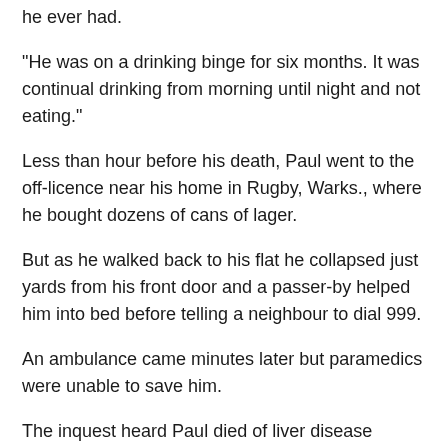he ever had.
"He was on a drinking binge for six months. It was continual drinking from morning until night and not eating."
Less than hour before his death, Paul went to the off-licence near his home in Rugby, Warks., where he bought dozens of cans of lager.
But as he walked back to his flat he collapsed just yards from his front door and a passer-by helped him into bed before telling a neighbour to dial 999.
An ambulance came minutes later but paramedics were unable to save him.
The inquest heard Paul died of liver disease caused by excessive alcohol abuse.
Recording a verdict of death by natural causes, Coventry